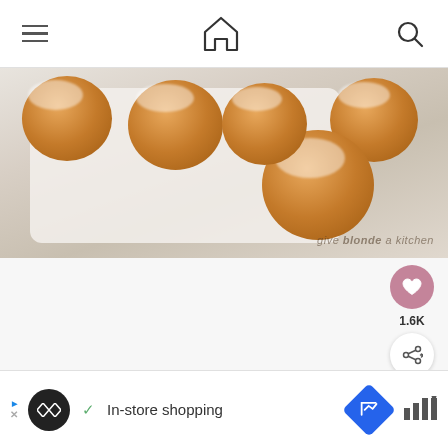Navigation bar with hamburger menu, home icon, search icon
[Figure (photo): Glazed muffins on a white tray viewed from above, with white icing drizzled on top, watermark reads 'give blonde a kitchen']
1.6K
[Figure (photo): WHAT'S NEXT arrow — Coffee Cake Muffins thumbnail card]
[Figure (infographic): Advertisement banner: In-store shopping ad with logo, checkmark, diamond road sign icon, and bar graph icon]